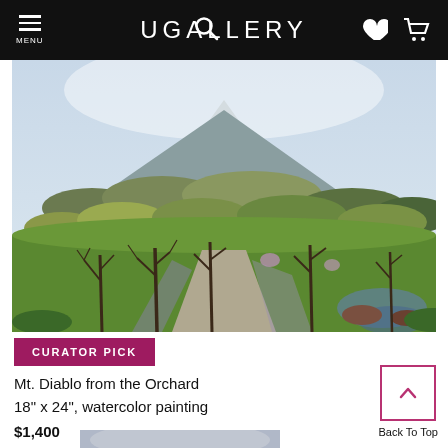UGALLERY
[Figure (illustration): Watercolor landscape painting of Mt. Diablo from the Orchard — rolling green fields with bare winter trees in the foreground, mountain with snow at peak in background under pale blue sky]
CURATOR PICK
Mt. Diablo from the Orchard
18" x 24", watercolor painting
$1,400
[Figure (illustration): Partially visible second painting below, appears grey/misty landscape]
Back To Top